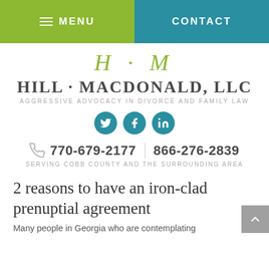MENU | CONTACT
[Figure (logo): Hill Macdonald LLC law firm logo with H·M monogram in olive green, firm name in gray serif font, tagline AGGRESSIVE ADVOCACY IN DIVORCE AND FAMILY LAW]
[Figure (infographic): Three teal circular social media icons: Twitter, Facebook, LinkedIn]
770-679-2177 | 866-276-2839
SERVING COBB COUNTY AND THE SURROUNDING AREA
2 reasons to have an iron-clad prenuptial agreement
Many people in Georgia who are contemplating